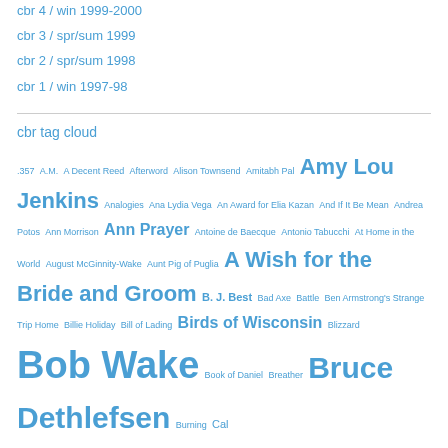cbr 4 / win 1999-2000
cbr 3 / spr/sum 1999
cbr 2 / spr/sum 1998
cbr 1 / win 1997-98
cbr tag cloud
.357 A.M. A Decent Reed Afterword Alison Townsend Amitabh Pal Amy Lou Jenkins Analogies Ana Lydia Vega An Award for Elia Kazan And If It Be Mean Andrea Potos Ann Morrison Ann Prayer Antoine de Baecque Antonio Tabucchi At Home in the World August McGinnity-Wake Aunt Pig of Puglia A Wish for the Bride and Groom B. J. Best Bad Axe Battle Ben Armstrong's Strange Trip Home Billie Holiday Bill of Lading Birds of Wisconsin Blizzard Bob Wake Book of Daniel Breather Bruce Dethlefsen Burning Cal